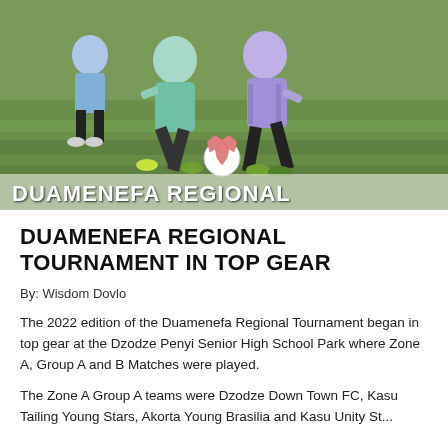[Figure (photo): Two soccer players competing for the ball on a grass field, one in light blue and one in purple uniform, with a soccer ball visible. Overlay text reads DUAMENEFA REGIONAL at the bottom of the image.]
DUAMENEFA REGIONAL TOURNAMENT IN TOP GEAR
By: Wisdom Dovlo
The 2022 edition of the Duamenefa Regional Tournament began in top gear at the Dzodze Penyi Senior High School Park where Zone A, Group A and B Matches were played.
The Zone A Group A teams were Dzodze Down Town FC, Kasu Tailing Young Stars, Akorta Young Brasilia and Kasu Unity St...